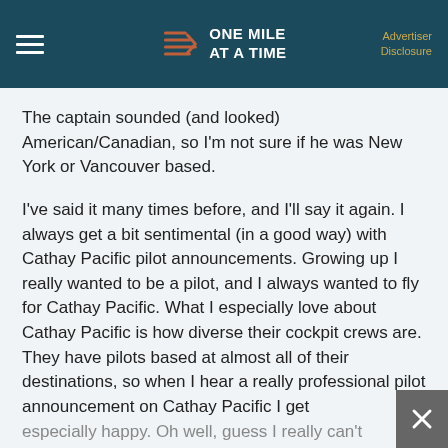ONE MILE AT A TIME | Advertiser Disclosure
The captain sounded (and looked) American/Canadian, so I'm not sure if he was New York or Vancouver based.
I've said it many times before, and I'll say it again. I always get a bit sentimental (in a good way) with Cathay Pacific pilot announcements. Growing up I really wanted to be a pilot, and I always wanted to fly for Cathay Pacific. What I especially love about Cathay Pacific is how diverse their cockpit crews are. They have pilots based at almost all of their destinations, so when I hear a really professional pilot announcement on Cathay Pacific I get especially happy. Oh well, guess I really can't complain too much, sitting just one seat behind the captain. 😊